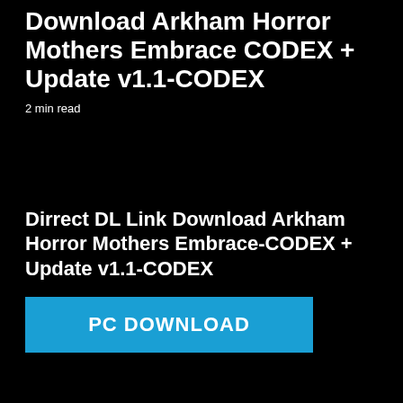Download Arkham Horror Mothers Embrace CODEX + Update v1.1-CODEX
2 min read
Dirrect DL Link Download Arkham Horror Mothers Embrace-CODEX + Update v1.1-CODEX
PC DOWNLOAD